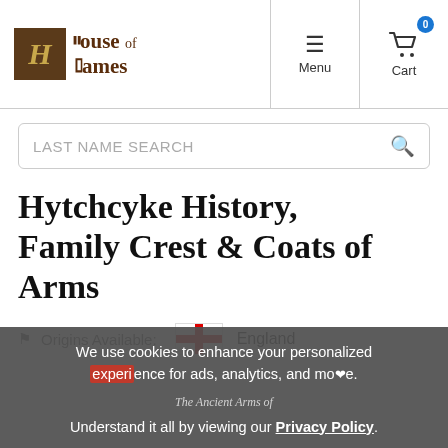House of Names — Menu | Cart
[Figure (screenshot): Search bar with placeholder text LAST NAME SEARCH and magnifying glass icon]
Hytchcyke History, Family Crest & Coats of Arms
Origins Available: England
We use cookies to enhance your personalized experience for ads, analytics, and more. Understand it all by viewing our Privacy Policy.